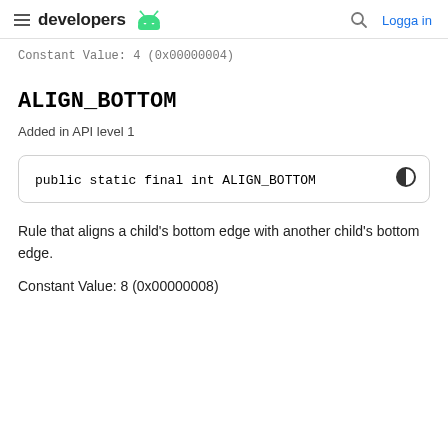developers  [android logo]  [search icon]  Logga in
Constant Value: 4 (0x00000004)
ALIGN_BOTTOM
Added in API level 1
public static final int ALIGN_BOTTOM
Rule that aligns a child's bottom edge with another child's bottom edge.
Constant Value: 8 (0x00000008)